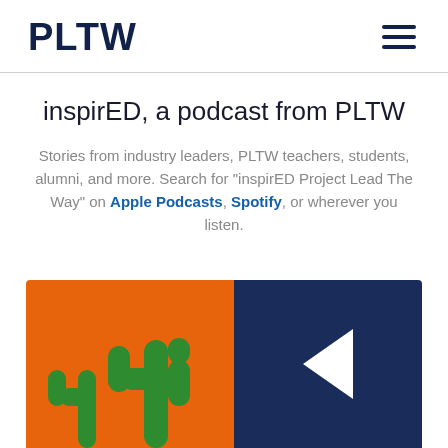PLTW
inspirED, a podcast from PLTW
Stories from industry leaders, PLTW teachers, students, alumni, and more. Search for “inspirED Project Lead The Way” on Apple Podcasts, Spotify, or wherever you listen.
[Figure (illustration): Podcast cover art split into two panels: left panel is orange with green cactus silhouettes, right panel is dark navy blue with a white arrow/cursor icon shape]